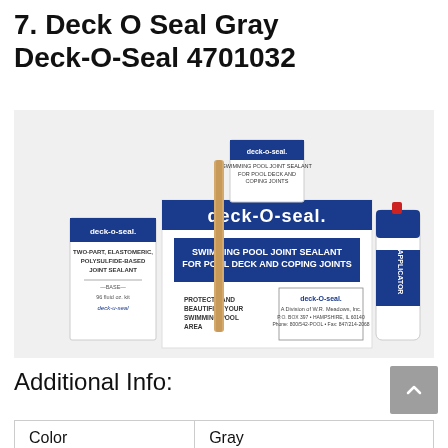7. Deck O Seal Gray Deck-O-Seal 4701032
[Figure (photo): Product photo of Deck-O-Seal swimming pool joint sealant kit including a large box labeled 'deck-O-seal Swimming Pool Joint Sealant For Pool Deck And Coping Joints', a small can labeled 'deck-o-seal', a wooden mixing stick, and an applicator bottle.]
Additional Info:
| Color | Gray |